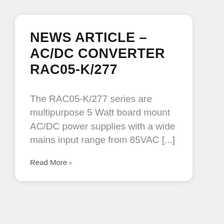NEWS ARTICLE – AC/DC CONVERTER RAC05-K/277
The RAC05-K/277 series are multipurpose 5 Watt board mount AC/DC power supplies with a wide mains input range from 85VAC [...]
Read More >